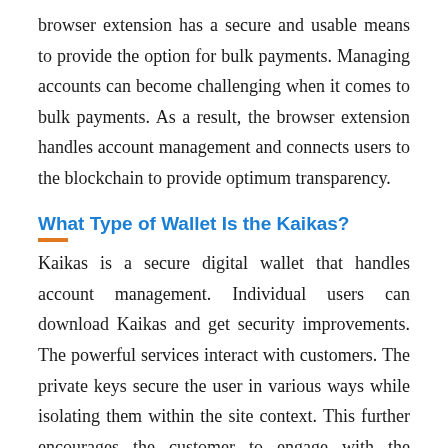browser extension has a secure and usable means to provide the option for bulk payments. Managing accounts can become challenging when it comes to bulk payments. As a result, the browser extension handles account management and connects users to the blockchain to provide optimum transparency.
What Type of Wallet Is the Kaikas?
Kaikas is a secure digital wallet that handles account management. Individual users can download Kaikas and get security improvements. The powerful services interact with customers. The private keys secure the user in various ways while isolating them within the site context. This further encourages the customer to engage with the decentralized wallet.